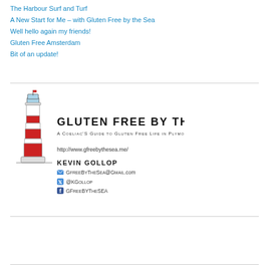The Harbour Surf and Turf
A New Start for Me – with Gluten Free by the Sea
Well hello again my friends!
Gluten Free Amsterdam
Bit of an update!
[Figure (logo): Gluten Free by the Sea logo — illustrated red and white striped lighthouse with a figure on top, beside the text 'GLUTEN FREE BY THE SEA / A Coeliac's Guide to Gluten Free Life in Plymouth', with contact info: http://www.gfreebythesea.me/, Kevin Gollop, GfreeByTheSea@Gmail.com, @KGollop, GFreeByTheSea]